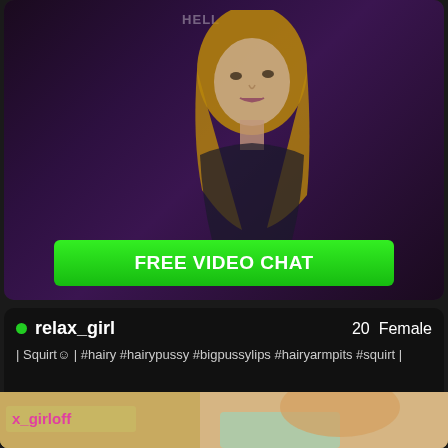[Figure (screenshot): Live webcam stream screenshot showing a young woman with long blonde hair in a dimly lit purple/dark room. A watermark reading 'HELLY' appears near the top center.]
FREE VIDEO CHAT
relax_girl   20  Female
| Squirt☺ | #hairy #hairypussy #bigpussylips #hairyarmpits #squirt |
[Figure (screenshot): Partial screenshot of a second webcam stream showing a girl with blonde hair and colorful clothing, with overlay text 'x_girloff' in pink on a yellow background.]